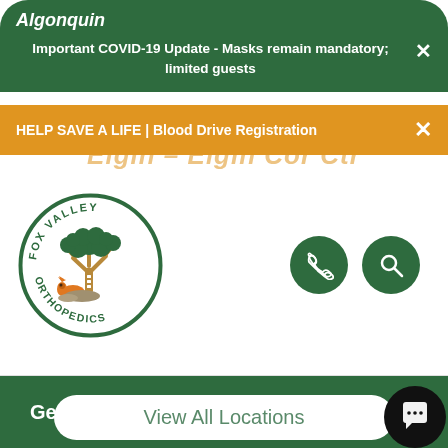Algonquin
Important COVID-19 Update - Masks remain mandatory; limited guests
HELP SAVE A LIFE | Blood Drive Registration
Elgin – Elgin Cor Ctr
[Figure (logo): Fox Valley Orthopedics circular logo with tree and fox illustration]
Geneva South
View All Locations